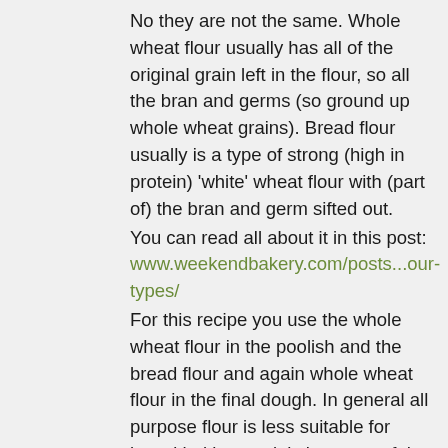No they are not the same. Whole wheat flour usually has all of the original grain left in the flour, so all the bran and germs (so ground up whole wheat grains). Bread flour usually is a type of strong (high in protein) 'white' wheat flour with (part of) the bran and germ sifted out.
You can read all about it in this post: www.weekendbakery.com/posts...our-types/
For this recipe you use the whole wheat flour in the poolish and the bread flour and again whole wheat flour in the final dough. In general all purpose flour is less suitable for bread baking, mainly because of the lower protein content.
Enjoy your whole wheat baking!